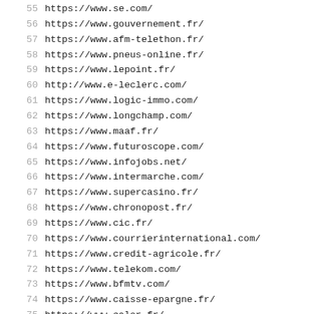55  https://www.se.com/
56  https://www.gouvernement.fr/
57  https://www.afm-telethon.fr/
58  https://www.pneus-online.fr/
59  https://www.lepoint.fr/
60  http://www.e-leclerc.com/
61  https://www.logic-immo.com/
62  https://www.longchamp.com/
63  https://www.maaf.fr/
64  https://www.futuroscope.com/
65  https://www.infojobs.net/
66  https://www.intermarche.com/
67  https://www.supercasino.fr/
68  https://www.chronopost.fr/
69  https://www.cic.fr/
70  https://www.courrierinternational.com/
71  https://www.credit-agricole.fr/
72  https://www.telekom.com/
73  https://www.bfmtv.com/
74  https://www.caisse-epargne.fr/
75  https://www.calor.fr/
76  https://www.groupebayard.com/fr/
77  https://www.bayard-jeunesse.com/